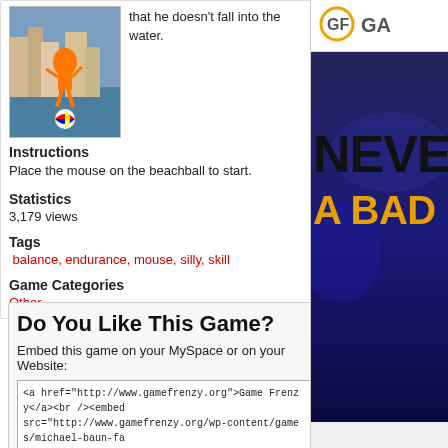[Figure (photo): Screenshot of a beach ball balancing game with player in orange outfit near a harbor]
that he doesn't fall into the water.
Instructions
Place the mouse on the beachball to start.
Statistics
3,179 views
Tags
balance, endurance, mouse, silly, skill
Game Categories
Other
Do You Like This Game?
Embed this game on your MySpace or on your Website:
<a href="http://www.gamefrenzy.org">Game Frenzy</a><br /><embed src="http://www.gamefrenzy.org/wp-content/games/michael-baun-fa wmode="direct" menu="false" quality="high" width="640" height="  allowscriptaccess="always" type="application/x-shockwave-flash" pluginspage="http://www.macromedia.com/go/getflashplayer" />
[Figure (logo): GF Games logo in top right sidebar]
[Figure (photo): Advertisement banner showing NEVER A BAD text on dark blue background]